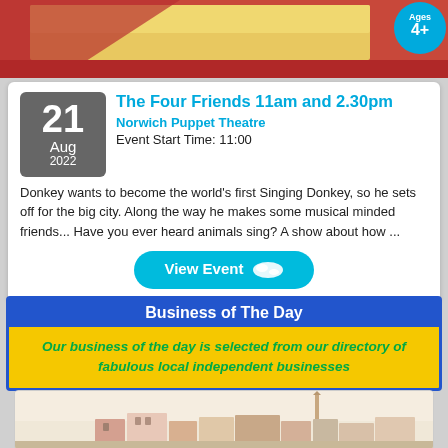[Figure (photo): Top photo strip showing colorful scene with red and yellow elements, partially visible]
Ages 4+
The Four Friends 11am and 2.30pm
Norwich Puppet Theatre
Event Start Time: 11:00
Donkey wants to become the world's first Singing Donkey, so he sets off for the big city. Along the way he makes some musical minded friends... Have you ever heard animals sing? A show about how ...
View Event
Business of The Day
Our business of the day is selected from our directory of fabulous local independent businesses
[Figure (photo): Photo of a town scene with historic buildings, a church spire in the background, pink and cream coloured houses, warm vintage tone]